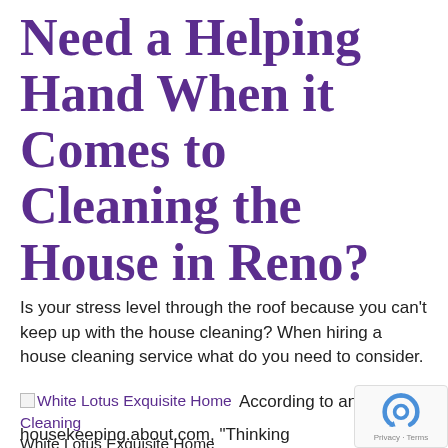Need a Helping Hand When it Comes to Cleaning the House in Reno?
Is your stress level through the roof because you can't keep up with the house cleaning? When hiring a house cleaning service what do you need to consider.
[Figure (other): Broken image placeholder with link text 'White Lotus Exquisite Home Cleaning' followed by caption 'White Lotus Exquisite Home Cleaning']
According to an article at
housekeeping.about.com, "Thinking